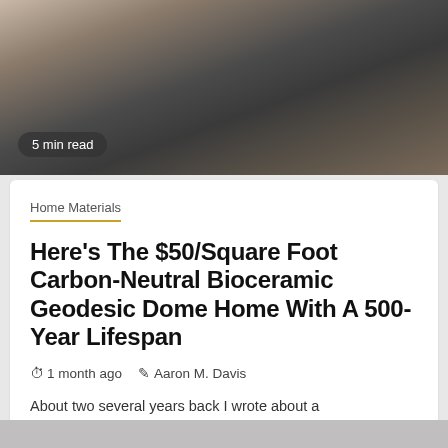[Figure (photo): Two people sitting/lying on a couch or bed, photographed in a casual lifestyle setting. Muted, dark tones.]
5 min read
Home Materials
Here's The $50/Square Foot Carbon-Neutral Bioceramic Geodesic Dome Home With A 500-Year Lifespan
1 month ago   Aaron M. Davis
About two several years back I wrote about a crowdfunding marketing campaign to build affordable, inexperienced, modular, and neighborhood-centric housing:...